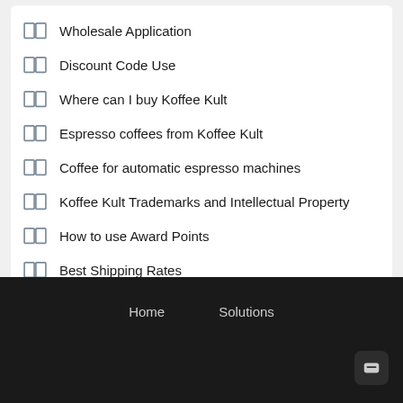Wholesale Application
Discount Code Use
Where can I buy Koffee Kult
Espresso coffees from Koffee Kult
Coffee for automatic espresso machines
Koffee Kult Trademarks and Intellectual Property
How to use Award Points
Best Shipping Rates
Cancel or Modify Order on KoffeeKult.com
Home    Solutions